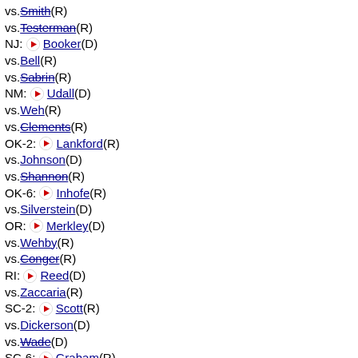vs.Smith(R)
vs.Testerman(R)
NJ: Booker(D)
vs.Bell(R)
vs.Sabrin(R)
NM: Udall(D)
vs.Weh(R)
vs.Clements(R)
OK-2: Lankford(R)
vs.Johnson(D)
vs.Shannon(R)
OK-6: Inhofe(R)
vs.Silverstein(D)
OR: Merkley(D)
vs.Wehby(R)
vs.Conger(R)
RI: Reed(D)
vs.Zaccaria(R)
SC-2: Scott(R)
vs.Dickerson(D)
vs.Wade(D)
SC-6: Graham(R)
vs.Hutto(D)
vs.Ravenel(I)
vs.Stamper(D)
vs.Mace(R)
vs.Bright(R)
SD: Rounds(R)